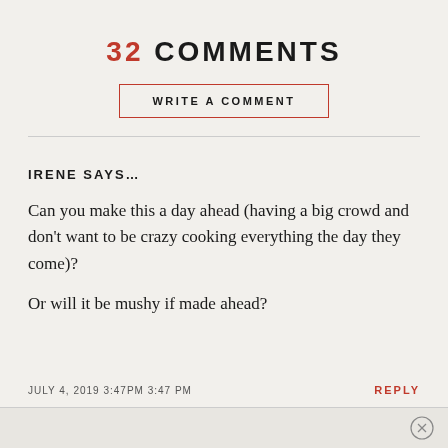32 COMMENTS
WRITE A COMMENT
IRENE SAYS...
Can you make this a day ahead (having a big crowd and don't want to be crazy cooking everything the day they come)?

Or will it be mushy if made ahead?
JULY 4, 2019 3:47PM 3:47 PM
REPLY